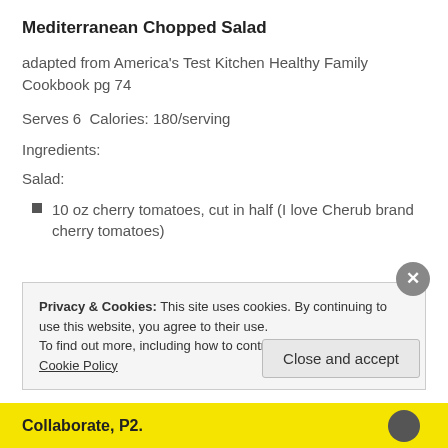Mediterranean Chopped Salad
adapted from America’s Test Kitchen Healthy Family Cookbook pg 74
Serves 6  Calories: 180/serving
Ingredients:
Salad:
10 oz cherry tomatoes, cut in half (I love Cherub brand cherry tomatoes)
Privacy & Cookies: This site uses cookies. By continuing to use this website, you agree to their use.
To find out more, including how to control cookies, see here: Cookie Policy
Close and accept
Collaborate, P2.